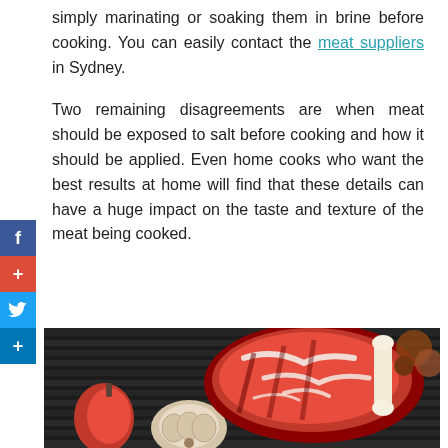simply marinating or soaking them in brine before cooking. You can easily contact the meat suppliers in Sydney.
Two remaining disagreements are when meat should be exposed to salt before cooking and how it should be applied. Even home cooks who want the best results at home will find that these details can have a huge impact on the taste and texture of the meat being cooked.
[Figure (photo): A raw ribeye steak with marbling on a dark cast iron grill pan, accompanied by a whole garlic bulb and red peppers/vegetables around it, viewed from above.]